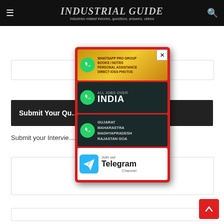INDUSTRIAL GUIDE — Industries related theories, questions, answers, videos
Submit Your Qu…
Submit your Intervie…
[Figure (screenshot): Popup overlay with WhatsApp and Telegram promotional cards: WHATSAPP PRO GROUP BOOKS/NOTES PERSONAL ASSISTANCE DIRECT IOSS PHOTOS; ALL JOBS OVER INDIA; GUJARAT MAHARASTRA MADHYAPRADESH RAJASTAN GOA; Join our Telegram Channel. Close button (X) in top right.]